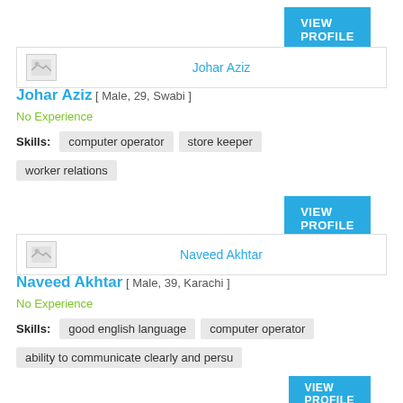[Figure (other): VIEW PROFILE button top right]
Johar Aziz
Johar Aziz [ Male, 29, Swabi ]
No Experience
Skills: computer operator  store keeper  worker relations
[Figure (other): VIEW PROFILE button second]
Naveed Akhtar
Naveed Akhtar [ Male, 39, Karachi ]
No Experience
Skills: good english language  computer operator  ability to communicate clearly and persu
[Figure (other): VIEW PROFILE button third]
imran
imran [ Male, 35, Lahore ]